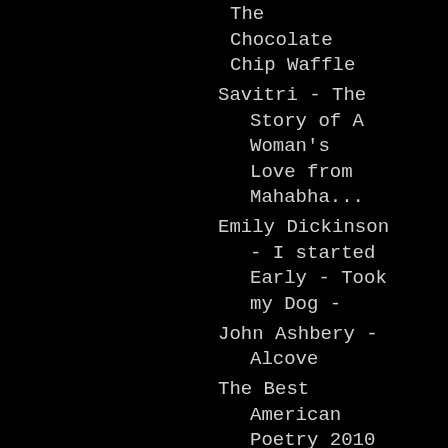The Chocolate Chip Waffle
Savitri - The Story of A Woman's Love from Mahabha...
Emily Dickinson - I started Early - Took my Dog -
John Ashbery - Alcove
The Best American Poetry 2010
Amy Gerstler - In Perpetual Spring
WB Yeats - The song of